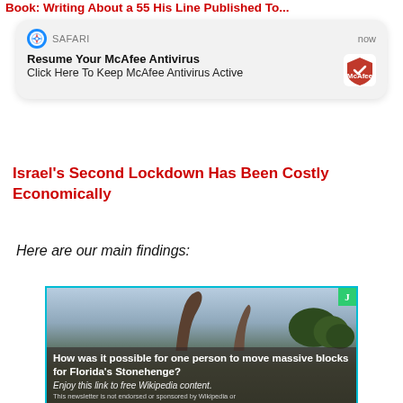Book: Writing About a 55 His Line Published To...
[Figure (screenshot): Safari browser notification popup: 'Resume Your McAfee Antivirus - Click Here To Keep McAfee Antivirus Active', shown with 'now' timestamp and McAfee shield logo]
Israel's Second Lockdown Has Been Costly Economically
Here are our main findings:
[Figure (photo): Ad image showing dinosaur-like stone sculptures against a sky background. Overlay text: 'How was it possible for one person to move massive blocks for Florida's Stonehenge?' with subtitle 'Enjoy this link to free Wikipedia content.' and small disclaimer 'This newsletter is not endorsed or sponsored by Wikipedia or']